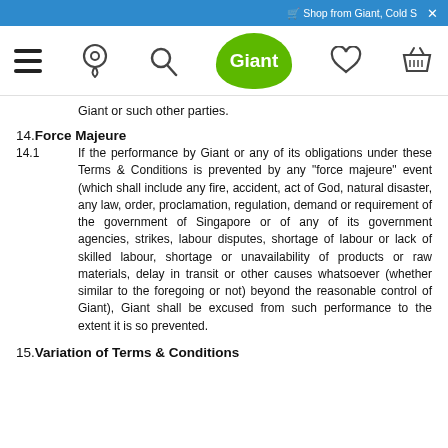Shop from Giant, Cold S  ×
[Figure (screenshot): Giant supermarket app navigation bar with hamburger menu, location pin, search, Giant green logo, heart/wishlist icon, and basket/cart icon]
Giant or such other parties.
14. Force Majeure
14.1 If the performance by Giant or any of its obligations under these Terms & Conditions is prevented by any "force majeure" event (which shall include any fire, accident, act of God, natural disaster, any law, order, proclamation, regulation, demand or requirement of the government of Singapore or of any of its government agencies, strikes, labour disputes, shortage of labour or lack of skilled labour, shortage or unavailability of products or raw materials, delay in transit or other causes whatsoever (whether similar to the foregoing or not) beyond the reasonable control of Giant), Giant shall be excused from such performance to the extent it is so prevented.
15. Variation of Terms & Conditions